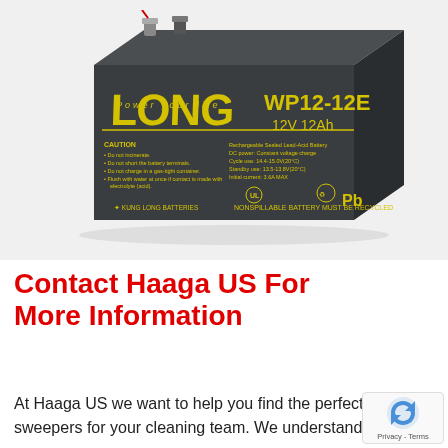[Figure (photo): LONG brand WP12-12E 12V 12Ah sealed lead-acid battery with yellow text and logos on dark grey casing, shown at an angle on white background.]
Contact Haaga US For More Information
At Haaga US we want to help you find the perfect sweepers for your cleaning team. We understand that